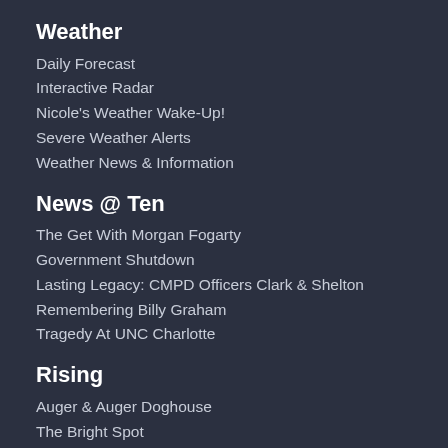Weather
Daily Forecast
Interactive Radar
Nicole's Weather Wake-Up!
Severe Weather Alerts
Weather News & Information
News @ Ten
The Get With Morgan Fogarty
Government Shutdown
Lasting Legacy: CMPD Officers Clark & Shelton
Remembering Billy Graham
Tragedy At UNC Charlotte
Rising
Auger & Auger Doghouse
The Bright Spot
Carolina InSight